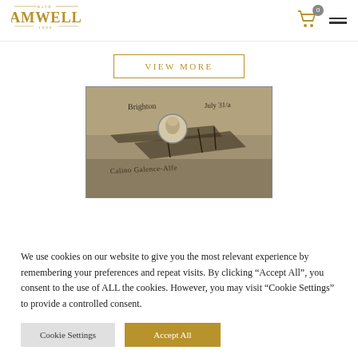Bath Samwells 1999 — navigation header with logo, cart (0), and hamburger menu
VIEW MORE
[Figure (photo): Vintage postcard showing an early airplane and a portrait of a pilot in a circular inset, with handwritten inscription reading 'Brighton July 31/a' and a signature]
We use cookies on our website to give you the most relevant experience by remembering your preferences and repeat visits. By clicking "Accept All", you consent to the use of ALL the cookies. However, you may visit "Cookie Settings" to provide a controlled consent.
Cookie Settings
Accept All